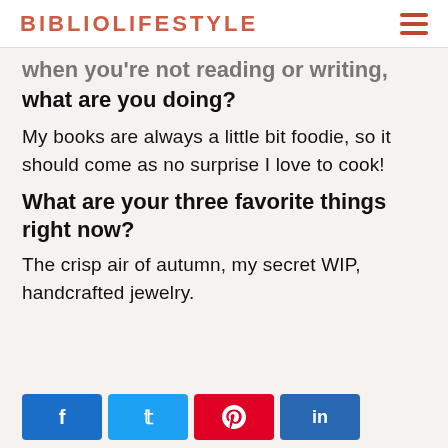BIBLIOLIFESTYLE
when you're not reading or writing, what are you doing?
My books are always a little bit foodie, so it should come as no surprise I love to cook!
What are your three favorite things right now?
The crisp air of autumn, my secret WIP, handcrafted jewelry.